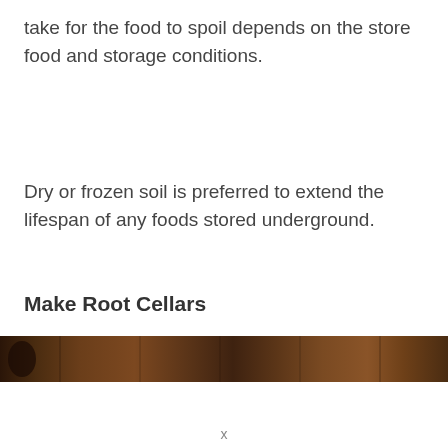take for the food to spoil depends on the store food and storage conditions.
Dry or frozen soil is preferred to extend the lifespan of any foods stored underground.
Make Root Cellars
[Figure (photo): Dark brown image showing what appears to be root cellar shelving or stored foods in a dim underground setting]
x